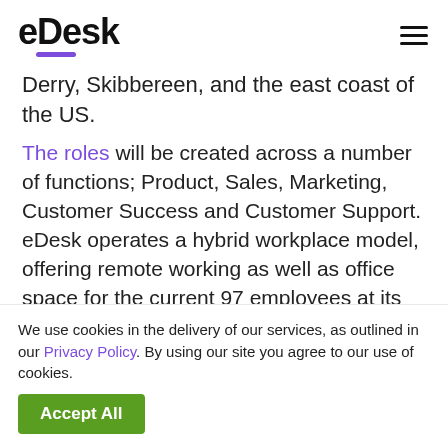eDesk
Derry, Skibbereen, and the east coast of the US.
The roles will be created across a number of functions; Product, Sales, Marketing, Customer Success and Customer Support. eDesk operates a hybrid workplace model, offering remote working as well as office space for the current 97 employees at its headquarters in Dublin and other offices in Derry and Skibbereen and the
We use cookies in the delivery of our services, as outlined in our Privacy Policy. By using our site you agree to our use of cookies.
Accept All